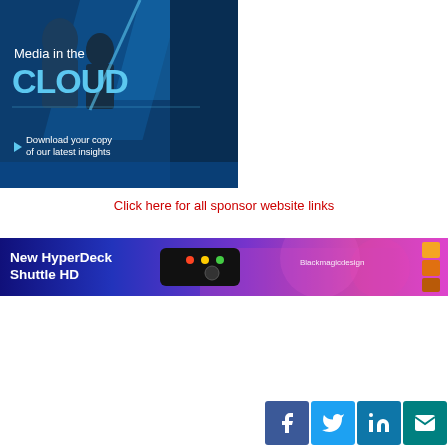[Figure (illustration): Media in the Cloud advertisement - dark blue background with diagonal design elements, text 'Media in the CLOUD' and 'Download your copy of our latest insights' with a play/arrow button]
Click here for all sponsor website links
[Figure (illustration): Blackmagic Design New HyperDeck Shuttle HD advertisement banner - dark blue to purple gradient with device image and colorful background]
[Figure (infographic): Social media icons bar: Facebook (blue), Twitter (light blue), LinkedIn (teal-blue), Email (teal)]